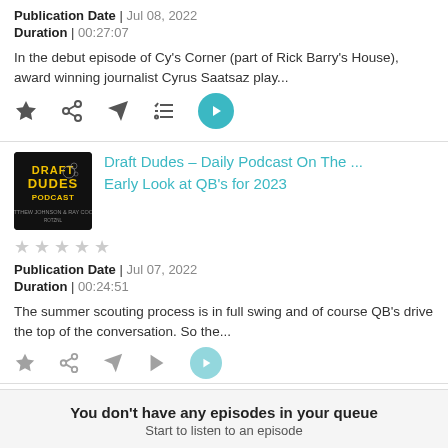Publication Date | Jul 08, 2022
Duration | 00:27:07
In the debut episode of Cy's Corner (part of Rick Barry's House), award winning journalist Cyrus Saatsaz play...
[Figure (screenshot): Action icons: star, share, send, playlist, play button]
[Figure (illustration): Draft Dudes Podcast thumbnail - black background with yellow text]
Draft Dudes – Daily Podcast On The ... Early Look at QB's for 2023
Publication Date | Jul 07, 2022
Duration | 00:24:51
The summer scouting process is in full swing and of course QB's drive the top of the conversation. So the...
[Figure (screenshot): Partial action icons at bottom of second card]
You don't have any episodes in your queue
Start to listen to an episode